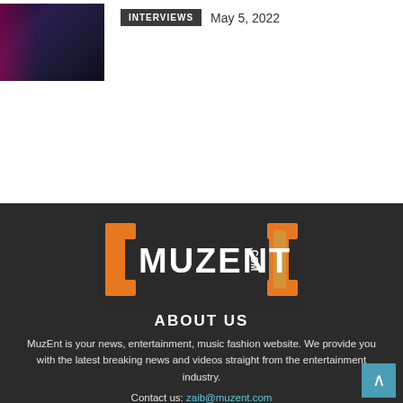[Figure (photo): Dark photo of a person with arms crossed, against a dark background with reddish purple lighting on the left side]
INTERVIEWS  May 5, 2022
[Figure (logo): MUZENT.COM logo with orange bracket symbols on left and right, white bold text on dark background]
ABOUT US
MuzEnt is your news, entertainment, music fashion website. We provide you with the latest breaking news and videos straight from the entertainment industry.
Contact us: zaib@muzent.com